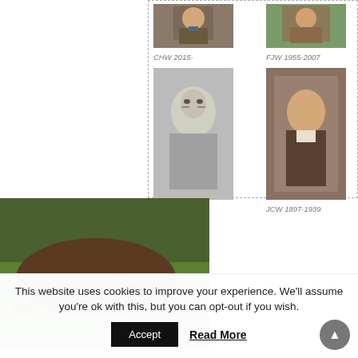[Figure (photo): Photo of CHW (person in brown vest and tie), captioned 'CHW 2015-']
CHW 2015-
[Figure (photo): Photo of FJW (person outdoors), captioned 'FJW 1955-2007']
FJW 1955-2007
[Figure (photo): Black and white photo of CW (elderly man with glasses), captioned 'CW 1940-1955']
CW 1940-1955
[Figure (photo): Painted portrait of JCW (young man in formal attire), captioned 'JCW 1897-1939']
JCW 1897-1939
[Figure (photo): Photograph of garden ground with green leaves and grass]
This website uses cookies to improve your experience. We'll assume you're ok with this, but you can opt-out if you wish.
Accept
Read More